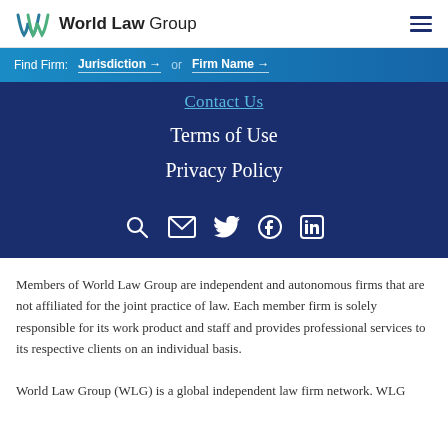World Law Group
Find Firm: Jurisdiction → or Firm Name →
Contact Us
Terms of Use
Privacy Policy
[Figure (infographic): Social media icons row: search (magnifying glass), email (envelope), Twitter (bird), Facebook (f), LinkedIn (in)]
Members of World Law Group are independent and autonomous firms that are not affiliated for the joint practice of law. Each member firm is solely responsible for its work product and staff and provides professional services to its respective clients on an individual basis.
World Law Group (WLG) is a global independent law firm network. WLG